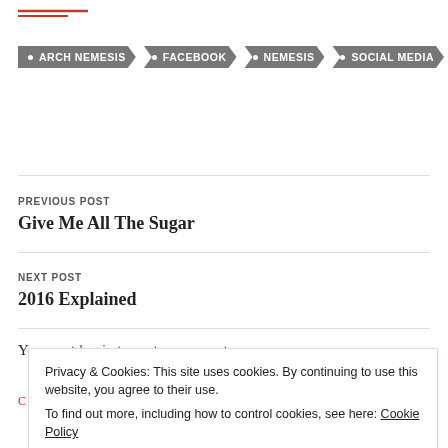[Figure (logo): Red logo/wordmark lines at top left]
• ARCH NEMESIS
• FACEBOOK
• NEMESIS
• SOCIAL MEDIA
PREVIOUS POST
Give Me All The Sugar
NEXT POST
2016 Explained
You must log in to post a comment.
Privacy & Cookies: This site uses cookies. By continuing to use this website, you agree to their use.
To find out more, including how to control cookies, see here: Cookie Policy
Close and accept